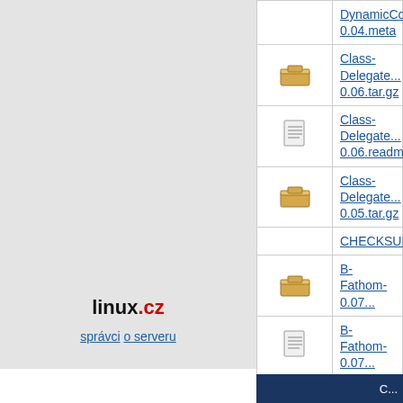| icon | name |
| --- | --- |
| [box] | DynamicConfi... 0.04.meta |
| [box] | Class-Delegate... 0.06.tar.gz |
| [doc] | Class-Delegate... 0.06.readme |
| [box] | Class-Delegate... 0.05.tar.gz |
|  | CHECKSUMS |
| [box] | B-Fathom-0.07... |
| [doc] | B-Fathom-0.07... |
| [box] | B-Fathom-0.06... |
| [doc] | B-Fathom-0.06... |
| [box] | 20120109-NoSQL_and_M... |
[Figure (logo): linux.cz logo]
správci o serveru
C...